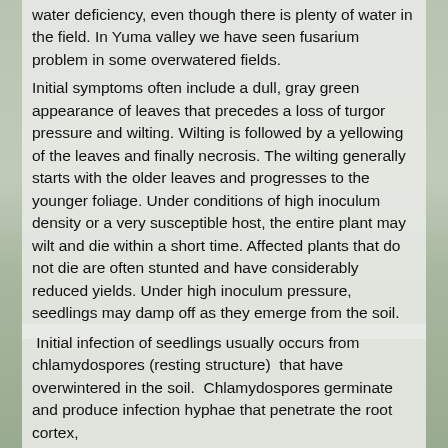water deficiency, even though there is plenty of water in the field. In Yuma valley we have seen fusarium problem in some overwatered fields.
Initial symptoms often include a dull, gray green appearance of leaves that precedes a loss of turgor pressure and wilting.  Wilting is followed by a yellowing of the leaves and finally necrosis.  The wilting generally starts with the older leaves and progresses to the younger foliage. Under conditions of high inoculum density or a very susceptible host, the entire plant may wilt and die within a short time.  Affected plants that do not die are often stunted and have considerably reduced yields. Under high inoculum pressure, seedlings may damp off as they emerge from the soil.
Initial infection of seedlings usually occurs from chlamydospores (resting structure)  that have overwintered in the soil.  Chlamydospores germinate and produce infection hyphae that penetrate the root cortex,